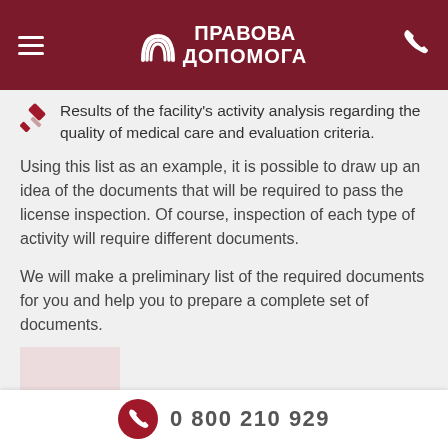Правова Допомога
Results of the facility's activity analysis regarding the quality of medical care and evaluation criteria.
Using this list as an example, it is possible to draw up an idea of the documents that will be required to pass the license inspection. Of course, inspection of each type of activity will require different documents.
We will make a preliminary list of the required documents for you and help you to prepare a complete set of documents.
The cost and term of legal support of
0 800 210 929